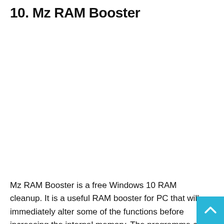10. Mz RAM Booster
[Figure (other): Screenshot or image placeholder for Mz RAM Booster application (blank/white area)]
Mz RAM Booster is a free Windows 10 RAM cleanup. It is a useful RAM booster for PC that will immediately alter some of the functions before increasing the internal memory. The programme can easily limit the background processes that interfering with the smooth operation of your system. In